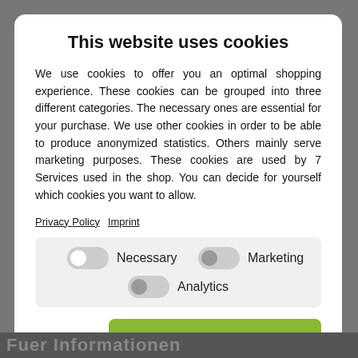This website uses cookies
We use cookies to offer you an optimal shopping experience. These cookies can be grouped into three different categories. The necessary ones are essential for your purchase. We use other cookies in order to be able to produce anonymized statistics. Others mainly serve marketing purposes. These cookies are used by 7 Services used in the shop. You can decide for yourself which cookies you want to allow.
Privacy Policy   Imprint
[Figure (screenshot): Cookie consent toggle controls: Necessary toggle (off), Marketing toggle (off), Analytics toggle (off)]
View Details   Save
Select all
Fuer Informationen